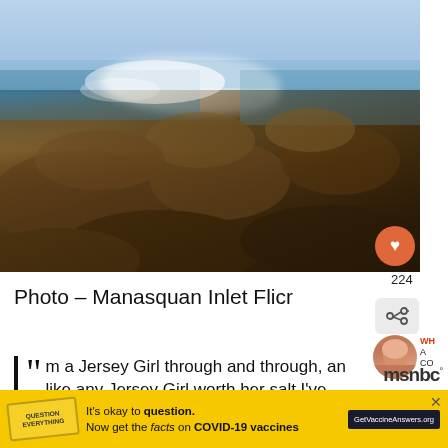[Figure (photo): Rocky jetty extending into the ocean at Manasquan Inlet, with waves crashing against rocks, blue sky above, and ocean on both sides]
Photo – Manasquan Inlet Flicr
m a Jersey Girl through and through, and like any Jersey Girl worth her salt I've
[Figure (other): Advertisement banner: It's okay to question. Now get the facts on COVID-19 vaccines. GetVaccineAnswers.org]